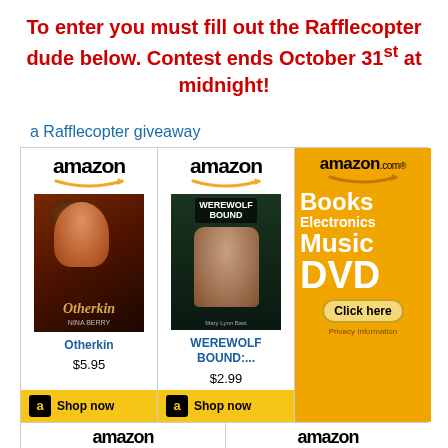To enter you must fill out the Rafflecopter dude below. Contest ends October 31st at midnight!
a Rafflecopter giveaway
[Figure (infographic): Amazon product widgets showing two books: Otherkin ($5.95) and WEREWOLF BOUND:.... ($2.99) with Shop now buttons, and an Amazon.com Books Electronics Music DVD advertisement with Click here button]
[Figure (infographic): Partial Amazon product widgets for two more books in the bottom row (How to Marry and another title)]